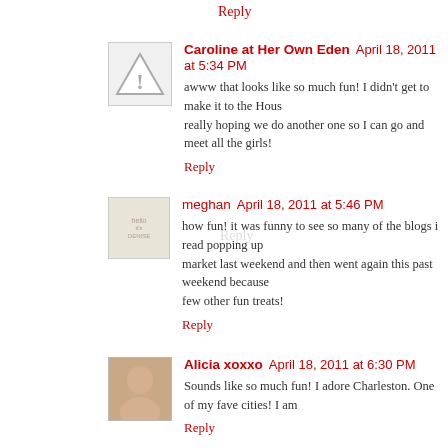Reply
Caroline at Her Own Eden  April 18, 2011 at 5:34 PM
awww that looks like so much fun! I didn't get to make it to the Hous... really hoping we do another one so I can go and meet all the girls!
Reply
meghan  April 18, 2011 at 5:46 PM
how fun! it was funny to see so many of the blogs i read popping up... market last weekend and then went again this past weekend because... few other fun treats!
Reply
Alicia xoxxo  April 18, 2011 at 6:30 PM
Sounds like so much fun! I adore Charleston. One of my fave cities! I am...
Reply
Geezees Custom Canvas Art  April 18, 2011 at 6:36 PM